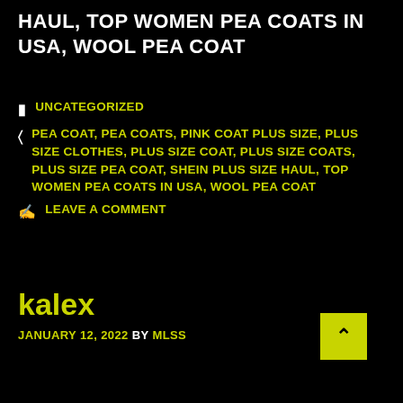HAUL, TOP WOMEN PEA COATS IN USA, WOOL PEA COAT
UNCATEGORIZED
PEA COAT, PEA COATS, PINK COAT PLUS SIZE, PLUS SIZE CLOTHES, PLUS SIZE COAT, PLUS SIZE COATS, PLUS SIZE PEA COAT, SHEIN PLUS SIZE HAUL, TOP WOMEN PEA COATS IN USA, WOOL PEA COAT
LEAVE A COMMENT
kalex
JANUARY 12, 2022 BY MLSS